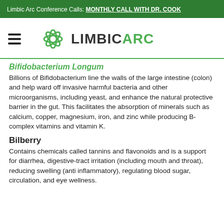Limbic Arc Conference Calls: MONTHLY CALL WITH DR. COOK
[Figure (logo): Limbic Arc logo with green flower/star icon and text LIMBIC ARC]
Bifidobacterium Longum
Billions of Bifidobacterium line the walls of the large intestine (colon) and help ward off invasive harmful bacteria and other microorganisms, including yeast, and enhance the natural protective barrier in the gut. This facilitates the absorption of minerals such as calcium, copper, magnesium, iron, and zinc while producing B-complex vitamins and vitamin K.
Bilberry
Contains chemicals called tannins and flavonoids and is a support for diarrhea, digestive-tract irritation (including mouth and throat), reducing swelling (anti inflammatory), regulating blood sugar, circulation, and eye wellness.